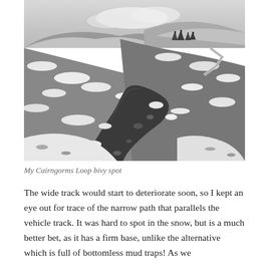[Figure (photo): Aerial-perspective black and white photo of a snowy highland landscape with a dark river or stream winding through snow-covered rocky moorland, hills in the background with scattered trees, and a path or track visible in the upper right. This is described as a Cairngorms Loop bivy spot.]
My Cairngorms Loop bivy spot
The wide track would start to deteriorate soon, so I kept an eye out for trace of the narrow path that parallels the vehicle track. It was hard to spot in the snow, but is a much better bet, as it has a firm base, unlike the alternative which is full of bottomless mud traps! As we